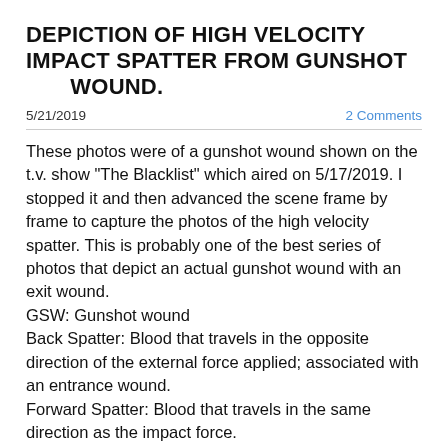DEPICTION OF HIGH VELOCITY IMPACT SPATTER FROM GUNSHOT      WOUND.
5/21/2019
2 Comments
These photos were of a gunshot wound shown on the t.v. show "The Blacklist" which aired on 5/17/2019. I stopped it and then advanced the scene frame by frame to capture the photos of the high velocity spatter. This is probably one of the best series of photos that depict an actual gunshot wound with an exit wound.
GSW: Gunshot wound
Back Spatter: Blood that travels in the opposite direction of the external force applied; associated with an entrance wound.
Forward Spatter: Blood that travels in the same direction as the impact force.
High Velocity Impact Spatter (HVIS): A bloodstain pattern caused by a high velocity impact/force to a blood source such as that produced by a gunshot wound or high.